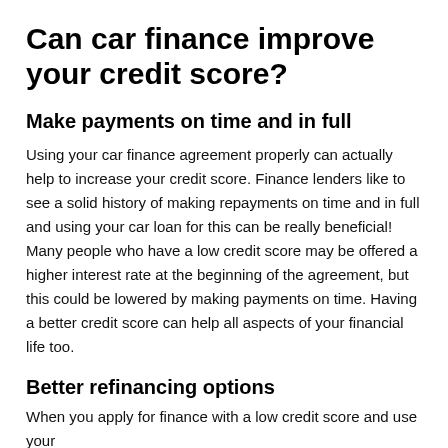Can car finance improve your credit score?
Make payments on time and in full
Using your car finance agreement properly can actually help to increase your credit score. Finance lenders like to see a solid history of making repayments on time and in full and using your car loan for this can be really beneficial! Many people who have a low credit score may be offered a higher interest rate at the beginning of the agreement, but this could be lowered by making payments on time. Having a better credit score can help all aspects of your financial life too.
Better refinancing options
When you apply for finance with a low credit score and use your